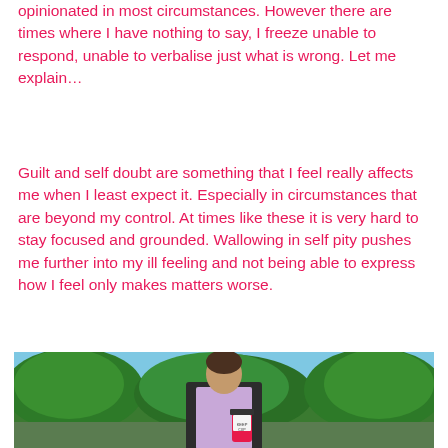opinionated in most circumstances. However there are times where I have nothing to say, I freeze unable to respond, unable to verbalise just what is wrong. Let me explain…
Guilt and self doubt are something that I feel really affects me when I least expect it. Especially in circumstances that are beyond my control. At times like these it is very hard to stay focused and grounded. Wallowing in self pity pushes me further into my ill feeling and not being able to express how I feel only makes matters worse.
[Figure (photo): A person standing outdoors wearing a light purple t-shirt and dark cardigan, holding a pink cup/mug, with green trees and blue sky in the background.]